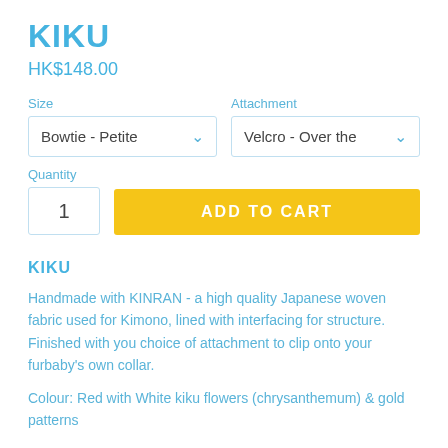KIKU
HK$148.00
Size
Bowtie - Petite
Attachment
Velcro - Over the Co
Quantity
1
ADD TO CART
KIKU
Handmade with KINRAN - a high quality Japanese woven fabric used for Kimono, lined with interfacing for structure. Finished with you choice of attachment to clip onto your furbaby's own collar.
Colour: Red with White kiku flowers (chrysanthemum) & gold patterns